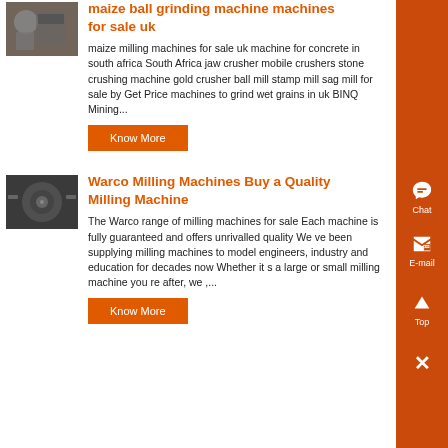maize ball grinding machine machines for sale uk
maize milling machines for sale uk machine for concrete in south africa South Africa jaw crusher mobile crushers stone crushing machine gold crusher ball mill stamp mill sag mill for sale by Get Price machines to grind wet grains in uk BINQ Mining...
Know More
Warco Milling Machines Buy a Quality Milling Machine
The Warco range of milling machines for sale Each machine is fully guaranteed and offers unrivalled quality We ve been supplying milling machines to model engineers, industry and education for decades now Whether it s a large or small milling machine you re after, we ,...
Know More